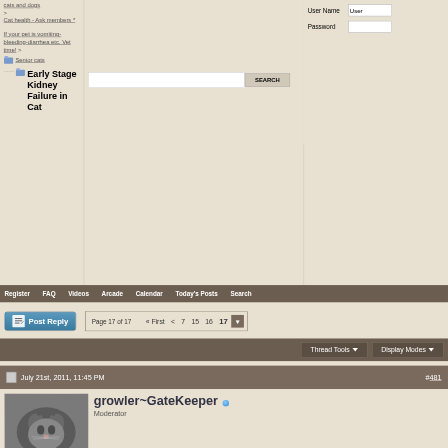cats and dogs
Cat health - Ask members *
If your pet is vomiting-bleeding-diarrhea etc. Vet time! >
Senior cats
Early Stage Kidney Failure in Cat
Register  FAQ  Videos  Arcade  Calendar  Today's Posts  Search
Page 17 of 17  « First  <  7  15  16  17
Thread Tools ▼   Display Modes ▼
July 21st, 2011, 11:45 PM   #481
growler~GateKeeper  Moderator  Join Date: May 2007  Posts: 17,568